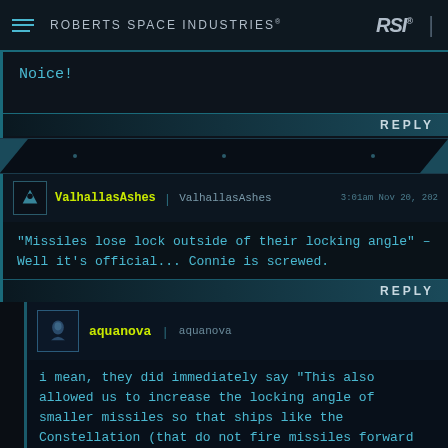ROBERTS SPACE INDUSTRIES® RSI®
Noice!
REPLY
ValhallasAshes | ValhallasAshes   3:01am Nov 20, 202…
"Missiles lose lock outside of their locking angle" – Well it's official... Connie is screwed.
REPLY
aquanova | aquanova
i mean, they did immediately say "This also allowed us to increase the locking angle of smaller missiles so that ships like the Constellation (that do not fire missiles forward but slightly off-angle) were viable to use missiles